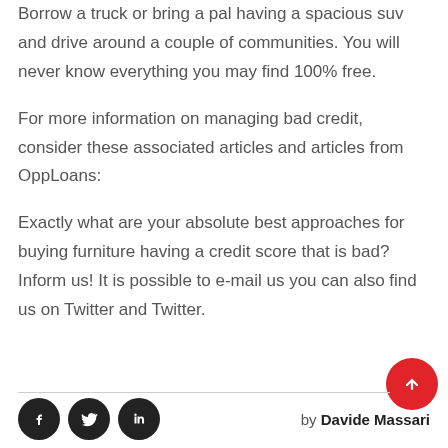Borrow a truck or bring a pal having a spacious suv and drive around a couple of communities. You will never know everything you may find 100% free.
For more information on managing bad credit, consider these associated articles and articles from OppLoans:
Exactly what are your absolute best approaches for buying furniture having a credit score that is bad? Inform us! It is possible to e-mail us you can also find us on Twitter and Twitter.
by Davide Massari